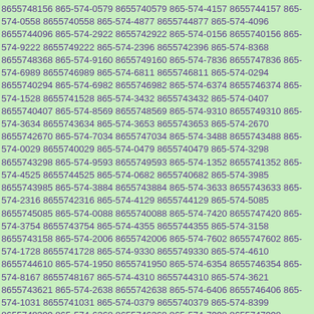8655748156 865-574-0579 8655740579 865-574-4157 8655744157 865-574-0558 8655740558 865-574-4877 8655744877 865-574-4096 8655744096 865-574-2922 8655742922 865-574-0156 8655740156 865-574-9222 8655749222 865-574-2396 8655742396 865-574-8368 8655748368 865-574-9160 8655749160 865-574-7836 8655747836 865-574-6989 8655746989 865-574-6811 8655746811 865-574-0294 8655740294 865-574-6982 8655746982 865-574-6374 8655746374 865-574-1528 8655741528 865-574-3432 8655743432 865-574-0407 8655740407 865-574-8569 8655748569 865-574-9310 8655749310 865-574-3634 8655743634 865-574-3653 8655743653 865-574-2670 8655742670 865-574-7034 8655747034 865-574-3488 8655743488 865-574-0029 8655740029 865-574-0479 8655740479 865-574-3298 8655743298 865-574-9593 8655749593 865-574-1352 8655741352 865-574-4525 8655744525 865-574-0682 8655740682 865-574-3985 8655743985 865-574-3884 8655743884 865-574-3633 8655743633 865-574-2316 8655742316 865-574-4129 8655744129 865-574-5085 8655745085 865-574-0088 8655740088 865-574-7420 8655747420 865-574-3754 8655743754 865-574-4355 8655744355 865-574-3158 8655743158 865-574-2006 8655742006 865-574-7602 8655747602 865-574-1728 8655741728 865-574-9330 8655749330 865-574-4610 8655744610 865-574-1950 8655741950 865-574-6354 8655746354 865-574-8167 8655748167 865-574-4310 8655744310 865-574-3621 8655743621 865-574-2638 8655742638 865-574-6406 8655746406 865-574-1031 8655741031 865-574-0379 8655740379 865-574-8399 8655748399 865-574-6368 8655746368 865-574-7998 8655747998